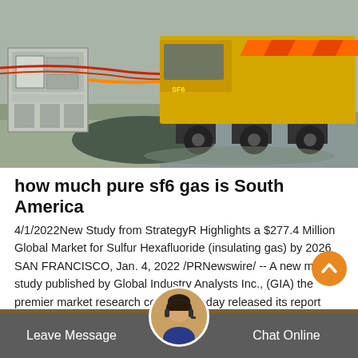[Figure (photo): Photograph of industrial/utility equipment on a road – a yellow truck or vehicle is visible on the right, gray electrical/utility equipment box on the left, with a gravel and paved road surface. A red cable or hose runs horizontally across the scene.]
how much pure sf6 gas is South America
4/1/2022New Study from StrategyR Highlights a $277.4 Million Global Market for Sulfur Hexafluoride (insulating gas) by 2026 SAN FRANCISCO, Jan. 4, 2022 /PRNewswire/ -- A new market study published by Global Industry Analysts Inc., (GIA) the premier market research company, today released its report titled "Sulfur Hexafluoride (sf6 gas) Global Market Trajectory Analytics".
Leave Message   Chat Online